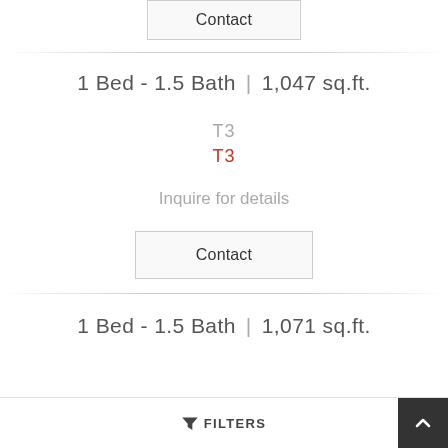Contact
1 Bed - 1.5 Bath | 1,047 sq.ft.
T3
T3
Inquire for details
Contact
1 Bed - 1.5 Bath | 1,071 sq.ft.
FILTERS